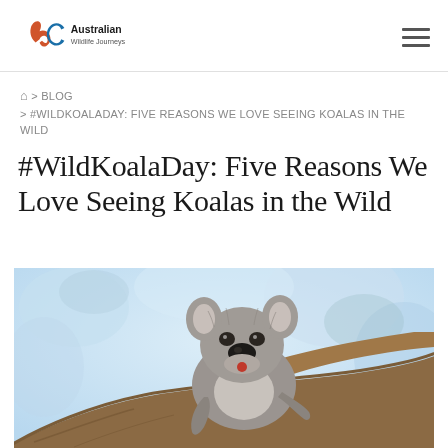Australian Wildlife Journeys
🏠 > BLOG > #WILDKOALADAY: FIVE REASONS WE LOVE SEEING KOALAS IN THE WILD
#WildKoalaDay: Five Reasons We Love Seeing Koalas in the Wild
[Figure (photo): A koala sitting on a tree branch in the wild, with eucalyptus foliage blurred in the background. The koala is grey and fluffy, gripping the bark of a large brown tree branch.]